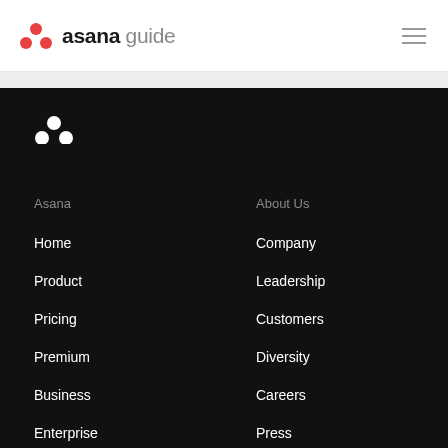asana guide
[Figure (logo): Asana white three-dot logo in dark footer]
Asana
Home
Product
Pricing
Premium
Business
Enterprise
Customer Success
About Us
Company
Leadership
Customers
Diversity
Careers
Press
Wavelength